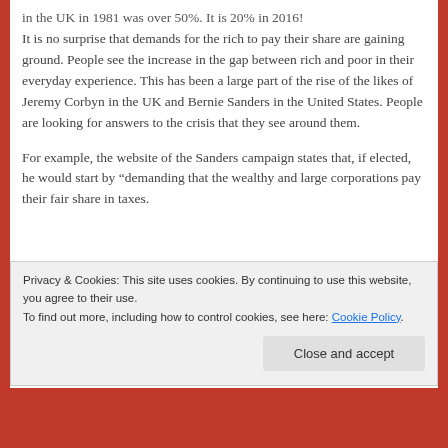in the UK in 1981 was over 50%. It is 20% in 2016!
It is no surprise that demands for the rich to pay their share are gaining ground. People see the increase in the gap between rich and poor in their everyday experience. This has been a large part of the rise of the likes of Jeremy Corbyn in the UK and Bernie Sanders in the United States. People are looking for answers to the crisis that they see around them.
For example, the website of the Sanders campaign states that, if elected, he would start by “demanding that the wealthy and large corporations pay their fair share in taxes.
Privacy & Cookies: This site uses cookies. By continuing to use this website, you agree to their use. To find out more, including how to control cookies, see here: Cookie Policy
Close and accept